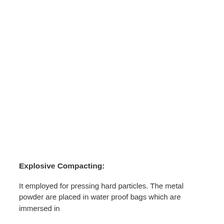Explosive Compacting:
It employed for pressing hard particles. The metal powder are placed in water proof bags which are immersed in